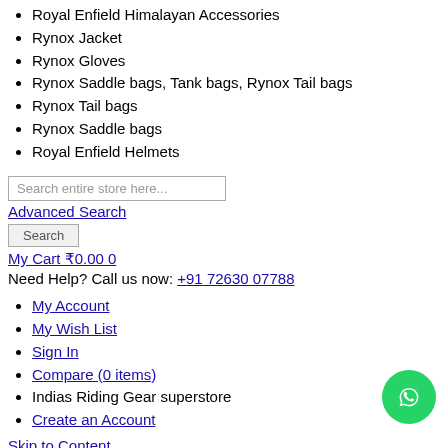Royal Enfield Himalayan Accessories
Rynox Jacket
Rynox Gloves
Rynox Saddle bags, Tank bags, Rynox Tail bags
Rynox Tail bags
Rynox Saddle bags
Royal Enfield Helmets
Search entire store here...
Advanced Search
Search
My Cart ₹0.00 0
Need Help? Call us now: +91 72630 07788
My Account
My Wish List
Sign In
Compare (0 items)
Indias Riding Gear superstore
Create an Account
Skip to Content
Menu
helmets